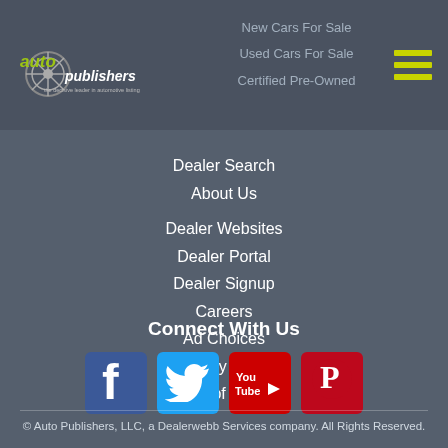[Figure (logo): Auto Publishers logo with car wheel graphic and tagline 'the decisive leader in automotive listings']
New Cars For Sale
Used Cars For Sale
Certified Pre-Owned
Dealer Search
About Us
Dealer Websites
Dealer Portal
Dealer Signup
Careers
Ad Choices
Privacy Policy
Terms of Service
Connect With Us
[Figure (logo): Social media icons: Facebook (blue), Twitter (light blue), YouTube (red with 'You Tube' text), Pinterest (red with P)]
© Auto Publishers, LLC, a Dealerwebb Services company. All Rights Reserved.